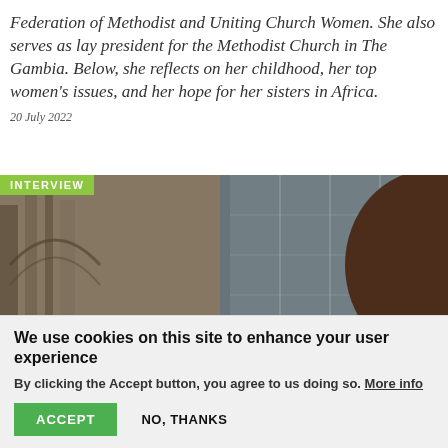Federation of Methodist and Uniting Church Women. She also serves as lay president for the Methodist Church in The Gambia. Below, she reflects on her childhood, her top women's issues, and her hope for her sisters in Africa.
20 July 2022
[Figure (photo): Portrait photo of a woman wearing glasses, with a building interior visible in the background. An 'INTERVIEW' badge overlays the top-left of the image.]
We use cookies on this site to enhance your user experience
By clicking the Accept button, you agree to us doing so. More info
ACCEPT
NO, THANKS